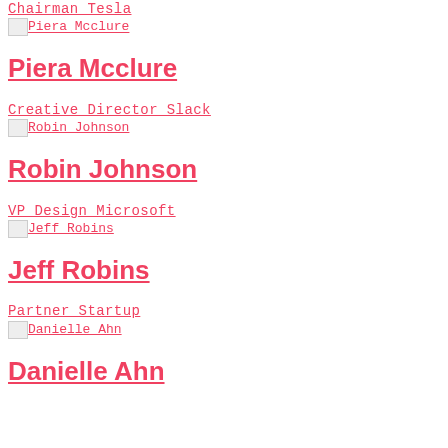Chairman Tesla
Piera Mcclure [image link]
Piera Mcclure
Creative Director Slack
Robin Johnson [image link]
Robin Johnson
VP Design Microsoft
Jeff Robins [image link]
Jeff Robins
Partner Startup
Danielle Ahn [image link]
Danielle Ahn